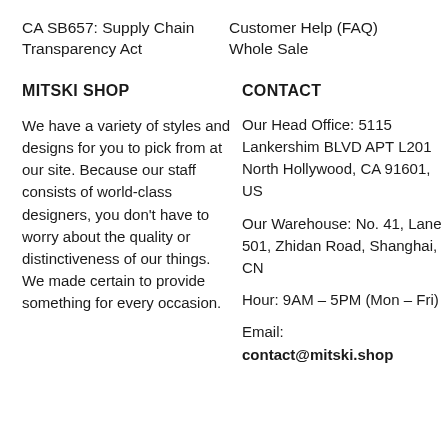CA SB657: Supply Chain Transparency Act
Customer Help (FAQ)
Whole Sale
MITSKI SHOP
CONTACT
We have a variety of styles and designs for you to pick from at our site. Because our staff consists of world-class designers, you don't have to worry about the quality or distinctiveness of our things. We made certain to provide something for every occasion.
Our Head Office: 5115 Lankershim BLVD APT L201 North Hollywood, CA 91601, US
Our Warehouse: No. 41, Lane 501, Zhidan Road, Shanghai, CN
Hour: 9AM – 5PM (Mon – Fri)
Email: contact@mitski.shop